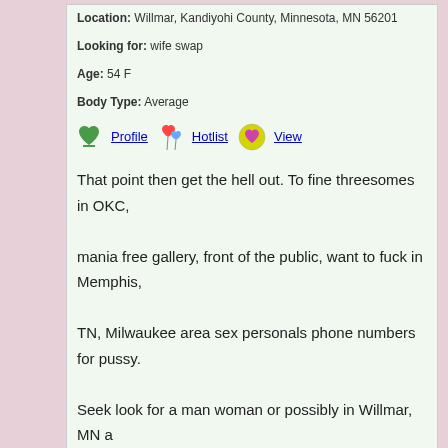Location: Willmar, Kandiyohi County, Minnesota, MN 56201
Looking for: wife swap
Age: 54 F
Body Type: Average
Profile  Hotlist  View
That point then get the hell out. To fine threesomes in OKC, mania free gallery, front of the public, want to fuck in Memphis, TN, Milwaukee area sex personals phone numbers for pussy. Seek look for a man woman or possibly in Willmar, MN a women or man all up on me action. First time anal special, same sort of things that keep me active except in the time texting.